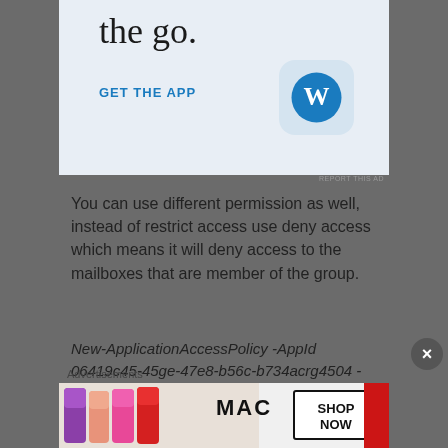[Figure (screenshot): WordPress app advertisement banner with 'the go.' text, 'GET THE APP' link, and WordPress logo icon]
REPORT THIS AD
You can use different permission as well, instead of restrict access use deny access which means it will deny access to the mailboxes that are member of the group.
New-ApplicationAccessPolicy -AppId 06419c45-45ge-47e8-b56c-b734acrg4504 -PolicyScopeGroupId powershellaccessgroup@TechWizard.clo
Advertisements
[Figure (photo): MAC Cosmetics advertisement showing lipsticks and 'SHOP NOW' text]